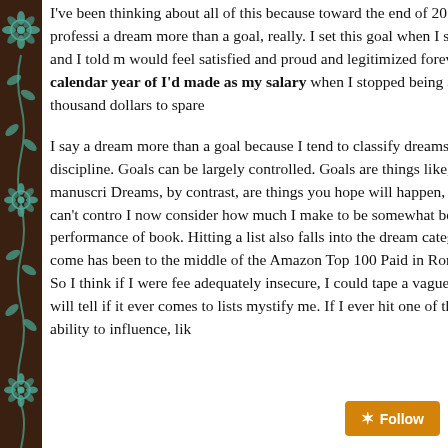I've been thinking about all of this because toward the end of 201, what I'd always imagined was a ridiculous, pie-in-the-sky professi a dream more than a goal, really. I set this goal when I sold my fi just over five years ago. I was infatuated with writing, and I told m would feel satisfied and proud and legitimized forever if I could ma this: to one day make as much money in one calendar year of I'd made as my salary when I stopped being a full-time graphic d And this past year, I did it. With a couple thousand dollars to spare

I say a dream more than a goal because I tend to classify dreams you pray for, and goals as things you accomplish through effort an discipline. Goals can be largely controlled. Goals are things like, " 250,000 new words this year," or, "I will self-publish that manuscri Dreams, by contrast, are things you hope will happen, likely throu combination of hard work and good fortune—and you can't contro I now consider how much I make to be somewhat beyond my con market's just about impossible to predict, as is the performance of book. Hitting a list also falls into the dream category, and it's one trouble myself with. (The closest I've knowingly come has been to the middle of the Amazon Top 100 Paid in Romance, with a full-pr which I'm led to believe is pretty hard to do. So I think if I were fee adequately insecure, I could tape a vague but not entirely fraudule "Bestselling Author" to my name. Time will tell if it ever comes to lists mystify me. If I ever hit one of the big two, I'll proudly stick it i but for now it feels beyond my ability to influence, lik